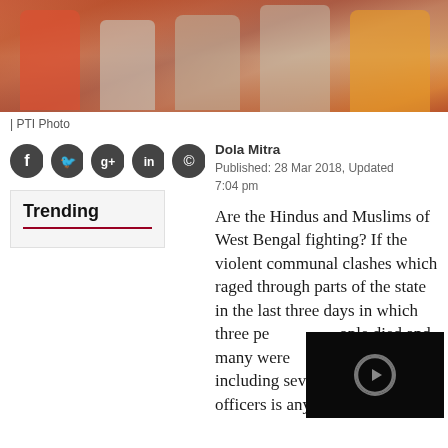[Figure (photo): Photo of people, cropped at bottom of frame showing figures in colorful clothing]
| PTI Photo
[Figure (other): Social media share icons: Facebook, Twitter, Google+, LinkedIn, WhatsApp]
Trending
Dola Mitra
Published: 28 Mar 2018, Updated 7:04 pm
Are the Hindus and Muslims of West Bengal fighting? If the violent communal clashes which raged through parts of the state in the last three days in which three people died and many were including sever officers is any indication